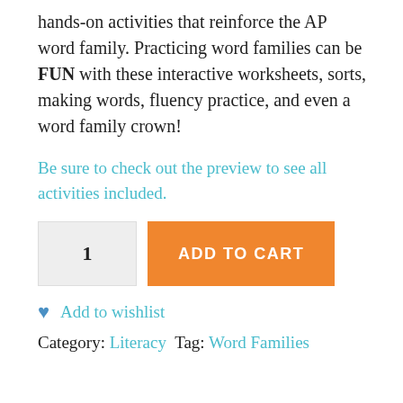hands-on activities that reinforce the AP word family. Practicing word families can be FUN with these interactive worksheets, sorts, making words, fluency practice, and even a word family crown!
Be sure to check out the preview to see all activities included.
[Figure (other): Quantity selector box showing '1' and an orange 'ADD TO CART' button]
Add to wishlist
Category: Literacy  Tag: Word Families